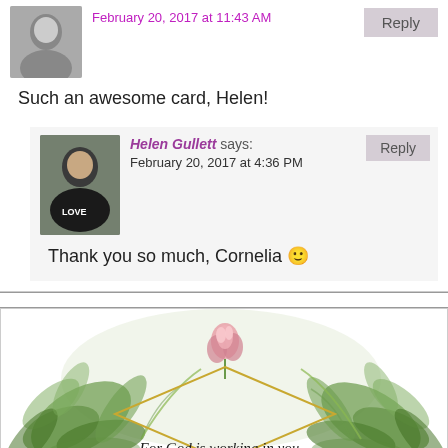February 20, 2017 at 11:43 AM
Such an awesome card, Helen!
Helen Gullett says: February 20, 2017 at 4:36 PM
Thank you so much, Cornelia 🙂
[Figure (illustration): Decorative botanical card with diamond/rhombus gold frame, green leaves, pink flower, and cursive text reading 'For God is working in you']